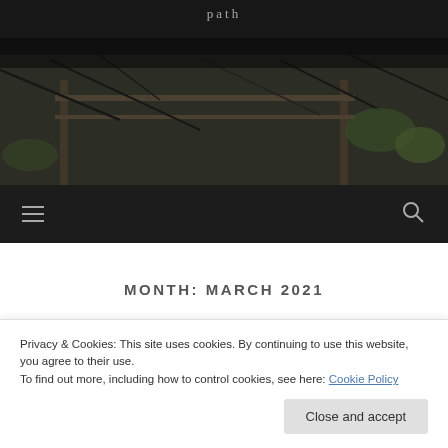[Figure (photo): Website header photo showing branches and a wooden structure with dark overlay, partially visible site title 'path' at top]
☰  🔍
MONTH: MARCH 2021
Privacy & Cookies: This site uses cookies. By continuing to use this website, you agree to their use.
To find out more, including how to control cookies, see here: Cookie Policy
Close and accept